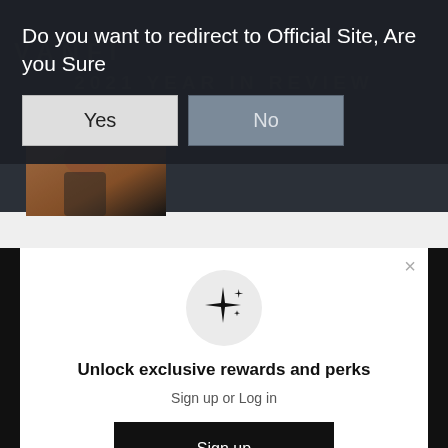Do you want to redirect to Official Site, Are you Sure
Yes
No
[Figure (photo): Partial view of a woman in black athletic wear]
2021 YEAR IN REVIEW
[Figure (illustration): Sparkle/stars icon in a light grey circle]
Unlock exclusive rewards and perks
Sign up or Log in
Sign up
Already have an account? Sign in